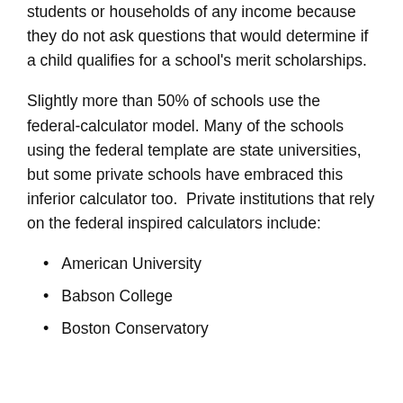students or households of any income because they do not ask questions that would determine if a child qualifies for a school's merit scholarships.
Slightly more than 50% of schools use the federal-calculator model. Many of the schools using the federal template are state universities, but some private schools have embraced this inferior calculator too.  Private institutions that rely on the federal inspired calculators include:
American University
Babson College
Boston Conservatory